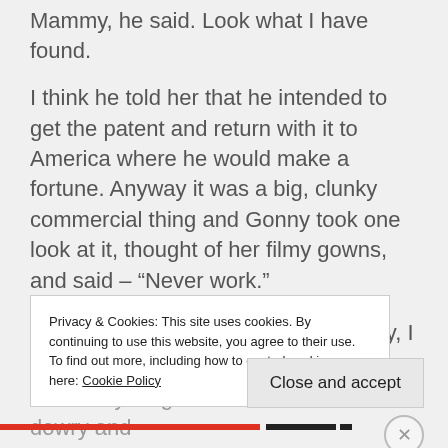Mammy, he said. Look what I have found.
I think he told her that he intended to get the patent and return with it to America where he would make a fortune. Anyway it was a big, clunky commercial thing and Gonny took one look at it, thought of her filmy gowns, and said – “Never work.”
Now really if we aren’t hugely wealthy, I don’t think it had anything to do with Henrietta’s dowry and
Privacy & Cookies: This site uses cookies. By continuing to use this website, you agree to their use.
To find out more, including how to control cookies, see here: Cookie Policy